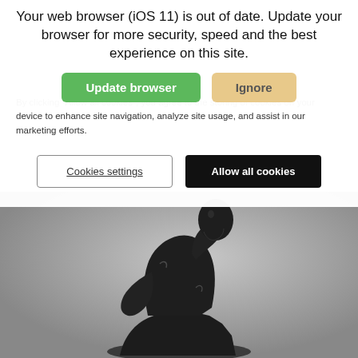Your web browser (iOS 11) is out of date. Update your browser for more security, speed and the best experience on this site.
Update browser
Ignore
By clicking "Allow all cookies", you agree to the storing of cookies on your device to enhance site navigation, analyze site usage, and assist in our marketing efforts.
Cookies settings
Allow all cookies
[Figure (photo): Black and white photograph of Rodin's The Thinker sculpture against a gray background, showing the famous bronze figure of a man sitting in deep contemplation with chin resting on hand.]